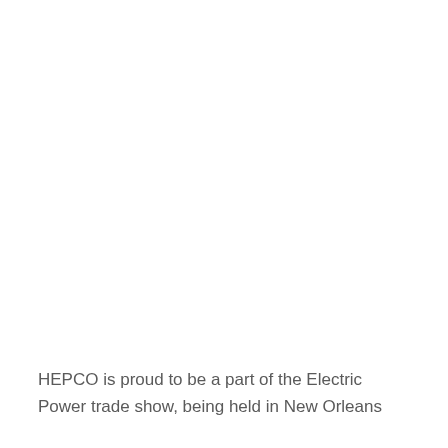HEPCO is proud to be a part of the Electric Power trade show, being held in New Orleans